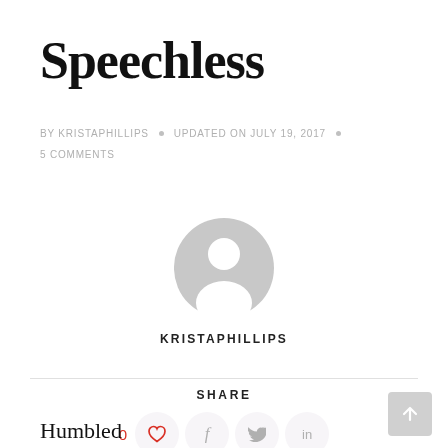Speechless
BY KRISTAPHILLIPS • UPDATED ON JULY 19, 2017 • 5 COMMENTS
[Figure (illustration): Generic user avatar icon — grey circle with white silhouette of a person (head and shoulders)]
KRISTAPHILLIPS
SHARE
0 (heart icon) (facebook icon) (twitter icon) (linkedin icon)
Humbled